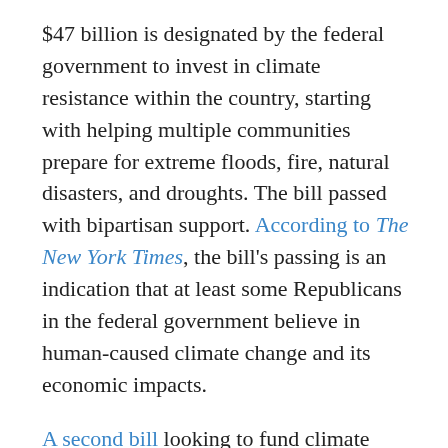$47 billion is designated by the federal government to invest in climate resistance within the country, starting with helping multiple communities prepare for extreme floods, fire, natural disasters, and droughts. The bill passed with bipartisan support. According to The New York Times, the bill's passing is an indication that at least some Republicans in the federal government believe in human-caused climate change and its economic impacts.
A second bill looking to fund climate change mitigation in the United States is still waiting on a congressional vote. The legislation would give an additional $555 billion to global